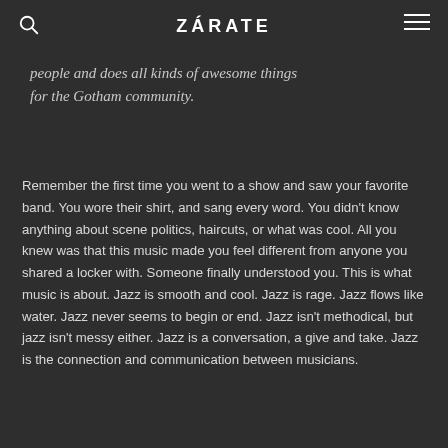ZÁRATE
people and does all kinds of awesome things for the Gotham community.
Remember the first time you went to a show and saw your favorite band. You wore their shirt, and sang every word. You didn't know anything about scene politics, haircuts, or what was cool. All you knew was that this music made you feel different from anyone you shared a locker with. Someone finally understood you. This is what music is about. Jazz is smooth and cool. Jazz is rage. Jazz flows like water. Jazz never seems to begin or end. Jazz isn't methodical, but jazz isn't messy either. Jazz is a conversation, a give and take. Jazz is the connection and communication between musicians.